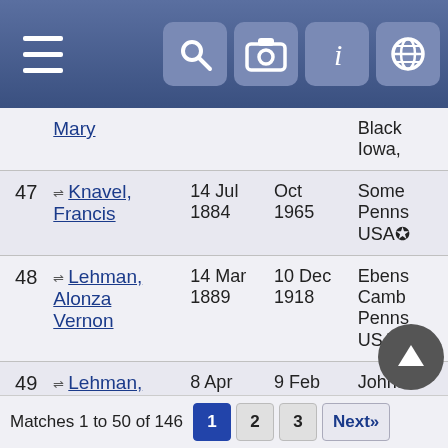| # | Name | Birth | Death | Location |
| --- | --- | --- | --- | --- |
|  | Mary |  |  | Black Iowa, |
| 47 | Knavel, Francis | 14 Jul 1884 | Oct 1965 | Some Penns USA |
| 48 | Lehman, Alonza Vernon | 14 Mar 1889 | 10 Dec 1918 | Ebens Camb Penns USA |
| 49 | Lehman, Catherine | 8 Apr 1849 | 9 Feb 1877 | Johns Iowa, |
| 50 | Lehman, David | 1848 | Abt 1850 | Camb Penns USA |
Matches 1 to 50 of 146  1  2  3  Next»